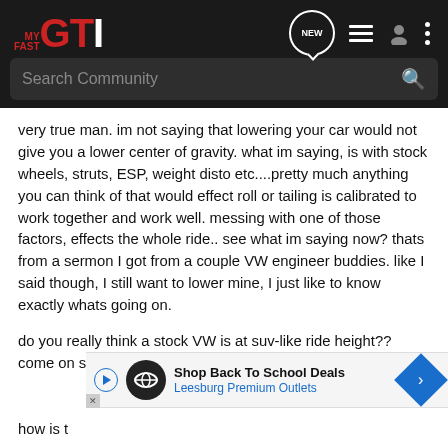MY FAST GTI — Search Community
very true man. im not saying that lowering your car would not give you a lower center of gravity. what im saying, is with stock wheels, struts, ESP, weight disto etc....pretty much anything you can think of that would effect roll or tailing is calibrated to work together and work well. messing with one of those factors, effects the whole ride.. see what im saying now? thats from a sermon I got from a couple VW engineer buddies. like I said though, I still want to lower mine, I just like to know exactly whats going on.
do you really think a stock VW is at suv-like ride height?? come on sarcasm is no fun.
[Figure (screenshot): Advertisement banner: Shop Back To School Deals — Leesburg Premium Outlets]
how is t . i cant